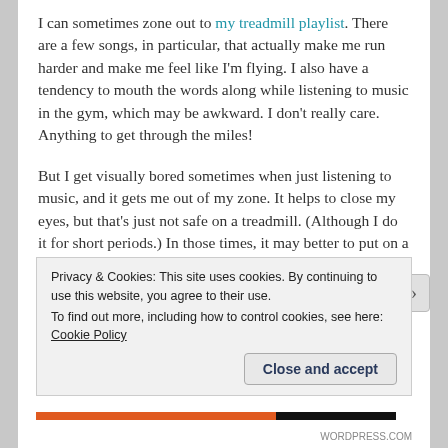I can sometimes zone out to my treadmill playlist. There are a few songs, in particular, that actually make me run harder and make me feel like I'm flying. I also have a tendency to mouth the words along while listening to music in the gym, which may be awkward. I don't really care. Anything to get through the miles!
But I get visually bored sometimes when just listening to music, and it gets me out of my zone. It helps to close my eyes, but that's just not safe on a treadmill. (Although I do it for short periods.) In those times, it may better to put on a TV show or movie. The
Privacy & Cookies: This site uses cookies. By continuing to use this website, you agree to their use.
To find out more, including how to control cookies, see here: Cookie Policy